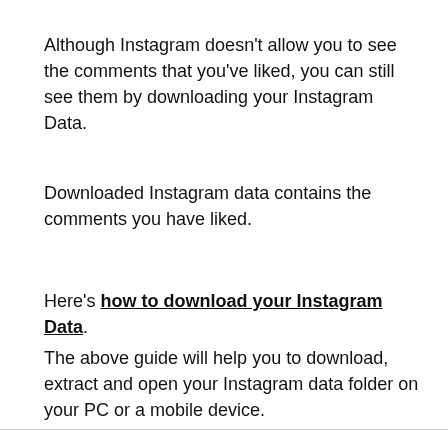Although Instagram doesn't allow you to see the comments that you've liked, you can still see them by downloading your Instagram Data.
Downloaded Instagram data contains the comments you have liked.
Here's how to download your Instagram Data.
The above guide will help you to download, extract and open your Instagram data folder on your PC or a mobile device.